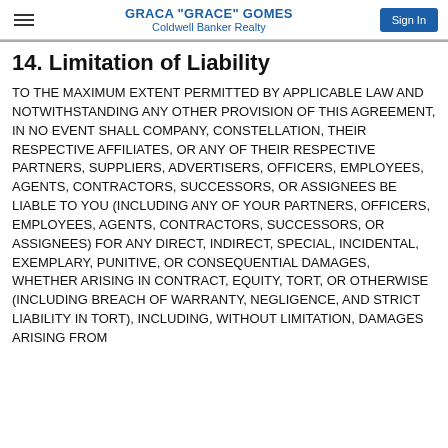GRACA "GRACE" GOMES
Coldwell Banker Realty
14. Limitation of Liability
TO THE MAXIMUM EXTENT PERMITTED BY APPLICABLE LAW AND NOTWITHSTANDING ANY OTHER PROVISION OF THIS AGREEMENT, IN NO EVENT SHALL COMPANY, CONSTELLATION, THEIR RESPECTIVE AFFILIATES, OR ANY OF THEIR RESPECTIVE PARTNERS, SUPPLIERS, ADVERTISERS, OFFICERS, EMPLOYEES, AGENTS, CONTRACTORS, SUCCESSORS, OR ASSIGNEES BE LIABLE TO YOU (INCLUDING ANY OF YOUR PARTNERS, OFFICERS, EMPLOYEES, AGENTS, CONTRACTORS, SUCCESSORS, OR ASSIGNEES) FOR ANY DIRECT, INDIRECT, SPECIAL, INCIDENTAL, EXEMPLARY, PUNITIVE, OR CONSEQUENTIAL DAMAGES, WHETHER ARISING IN CONTRACT, EQUITY, TORT, OR OTHERWISE (INCLUDING BREACH OF WARRANTY, NEGLIGENCE, AND STRICT LIABILITY IN TORT), INCLUDING, WITHOUT LIMITATION, DAMAGES ARISING FROM